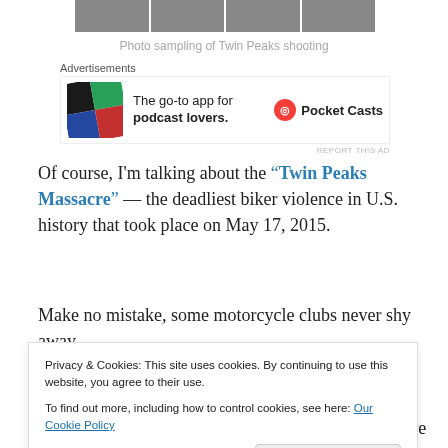[Figure (photo): Strip of four thumbnail photos of the Twin Peaks shooting scene]
Photo sampling of Twin Peaks shooting
[Figure (other): Pocket Casts advertisement: The go-to app for podcast lovers.]
Of course, I'm talking about the “Twin Peaks Massacre” — the deadliest biker violence in U.S. history that took place on May 17, 2015.
Make no mistake, some motorcycle clubs never shy away from flaunting their lawbreaking — even in Waco, TX the parking lot.  Remarkably, law enforcement was aware of
Privacy & Cookies: This site uses cookies. By continuing to use this website, you agree to their use.
To find out more, including how to control cookies, see here: Our Cookie Policy